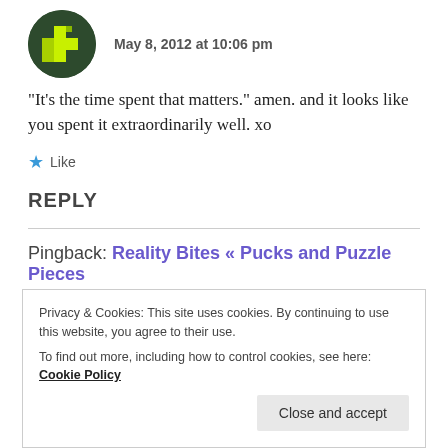[Figure (illustration): User avatar: dark green circle with a pixelated green cross/plus icon in lime green]
May 8, 2012 at 10:06 pm
“It’s the time spent that matters.” amen. and it looks like you spent it extraordinarily well. xo
★ Like
REPLY
Pingback: Reality Bites « Pucks and Puzzle Pieces
Privacy & Cookies: This site uses cookies. By continuing to use this website, you agree to their use.
To find out more, including how to control cookies, see here: Cookie Policy